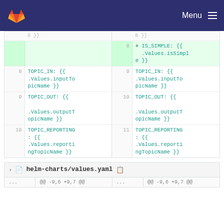GitLab — Menu
[Figure (screenshot): GitLab diff view showing two-column code diff. Left side shows lines 8-10, right side shows lines 8-11 with an added line 8 highlighted in green containing IS_SIMPLE: {{ .Values.isSimple }}. Lines 8-10 show TOPIC_IN, TOPIC_OUT, TOPIC_REPORTING code blocks in teal monospace font.]
helm-charts/values.yaml
... @@ -9,6 +9,7 @@ ... @@ -9,6 +9,7 @@